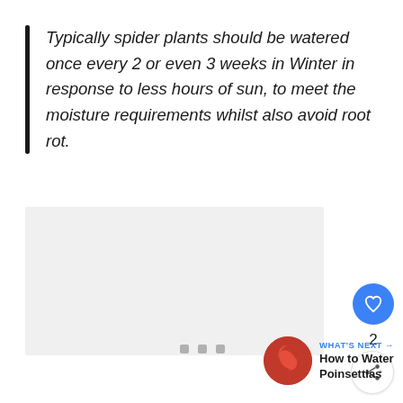Typically spider plants should be watered once every 2 or even 3 weeks in Winter in response to less hours of sun, to meet the moisture requirements whilst also avoid root rot.
[Figure (other): Light gray rectangular image placeholder area]
[Figure (other): Blue circular heart/like button showing a heart icon, like count of 2, and a share button below]
2
WHAT'S NEXT → How to Water Poinsettias